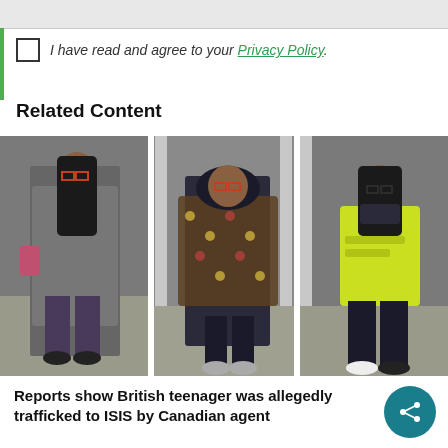I have read and agree to your Privacy Policy.
Related Content
[Figure (photo): CCTV footage showing three young women walking through what appears to be an airport security/gate area. Left: girl in grey coat and glasses with long dark hair. Center: girl in dark hooded coat with patterned scarf and red-orange glasses. Right: girl in bright yellow/green sweatshirt with dark pants.]
Reports show British teenager was allegedly trafficked to ISIS by Canadian agent